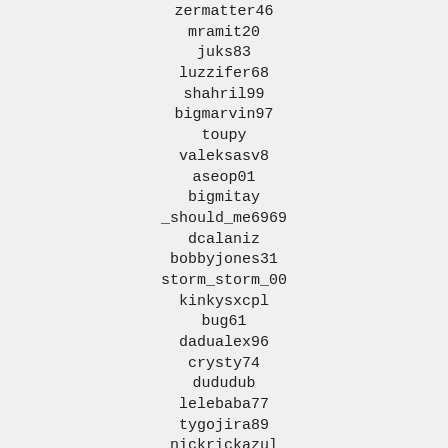zermatter46
mramit20
juks83
luzzifer68
shahril99
bigmarvin97
toupy
valeksasv8
aseop01
bigmitay
_should_me6969
dcalaniz
bobbyjones31
storm_storm_00
kinkysxcpl
bug61
dadualex96
crysty74
dududub
lelebaba77
tygojira89
nickrickazul
tsa13
nerak98
tommy89tt